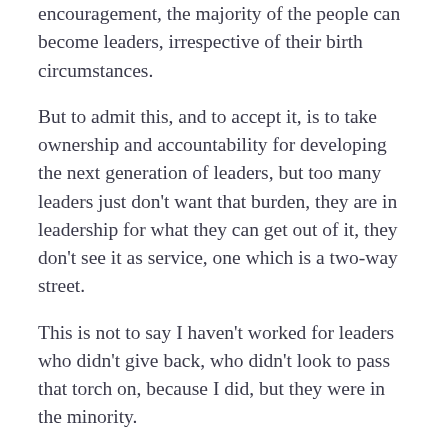encouragement, the majority of the people can become leaders, irrespective of their birth circumstances.
But to admit this, and to accept it, is to take ownership and accountability for developing the next generation of leaders, but too many leaders just don't want that burden, they are in leadership for what they can get out of it, they don't see it as service, one which is a two-way street.
This is not to say I haven't worked for leaders who didn't give back, who didn't look to pass that torch on, because I did, but they were in the minority.
The rest, well they just took what they could, and left the next generation to fend for themselves and then criticised the lack of quality coming through the ranks.
When we lament at the lack of leaders coming